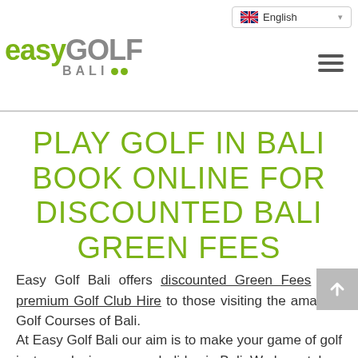[Figure (logo): Easy Golf Bali logo with green 'easy' text, grey 'GOLF' text, grey 'BALI' text and two green dots]
PLAY GOLF IN BALI BOOK ONLINE FOR DISCOUNTED BALI GREEN FEES
Easy Golf Bali offers discounted Green Fees and premium Golf Club Hire to those visiting the amazing Golf Courses of Bali.
At Easy Golf Bali our aim is to make your game of golf just as relaxing as your holiday in Bali. We have taken